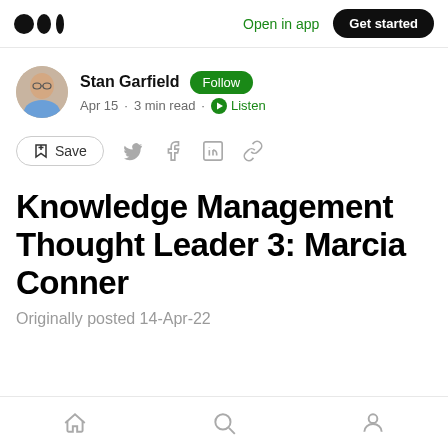Open in app · Get started
Stan Garfield · Follow · Apr 15 · 3 min read · Listen
Save
Knowledge Management Thought Leader 3: Marcia Conner
Originally posted 14-Apr-22
Home · Search · Profile